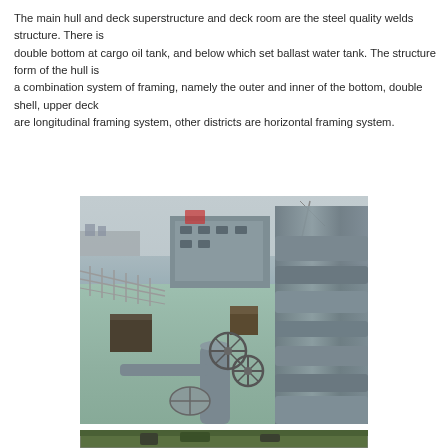The main hull and deck superstructure and deck room are the steel quality welds structure. There is double bottom at cargo oil tank, and below which set ballast water tank. The structure form of the hull is a combination system of framing, namely the outer and inner of the bottom, double shell, upper deck are longitudinal framing system, other districts are horizontal framing system.
[Figure (photo): Photograph of a ship's deck showing green-painted steel deck surface with pipe valves, handwheels, piping systems, safety railings on the port side, and ship superstructure in the background. Water and industrial shoreline visible in the background.]
[Figure (photo): Partial view of ship deck equipment, bottom strip of image showing green deck with pipes.]